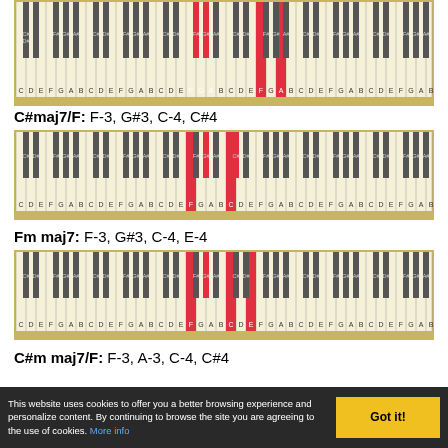[Figure (illustration): Piano keyboard diagram showing highlighted keys for a chord, with yellow border at bottom. Keys F, G#, A highlighted in red (octave 3).]
C#maj7/F: F-3, G#3, C-4, C#4
[Figure (illustration): Piano keyboard diagram for C#maj7/F chord. Keys F-3, G#3 highlighted red, C-4 white highlighted red, C#4 black highlighted red.]
Fm maj7: F-3, G#3, C-4, E-4
[Figure (illustration): Piano keyboard diagram for Fm maj7 chord. Keys F-3, G#3, C-4, E-4 highlighted in red.]
C#m maj7/F: F-3, A-3, C-4, C#4
This website uses cookies to offer you a better browsing experience and personalize content. By continuing to browse the site you are agreeing to the use of cookies. More info